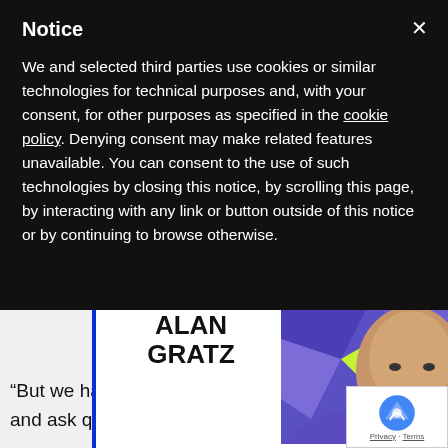Notice
We and selected third parties use cookies or similar technologies for technical purposes and, with your consent, for other purposes as specified in the cookie policy. Denying consent may make related features unavailable. You can consent to the use of such technologies by closing this notice, by scrolling this page, by interacting with any link or button outside of this notice or by continuing to browse otherwise.
[Figure (photo): Alan Gratz promotional card with his name in bold text and a photo of a bearded man against a colorful geometric background. Caption reads: Meet him with your school, school district, or writer's group! Proceeds benefit TABC Book Drop (Writer's Cubed, a 501c3).]
“But we have to be smarter and be happy to build pres and ask questions.